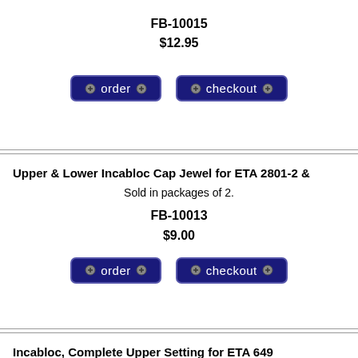FB-10015
$12.95
[Figure (screenshot): Order and Checkout buttons (dark navy blue rounded buttons with screw icons)]
Upper & Lower Incabloc Cap Jewel for ETA 2801-2 &
Sold in packages of 2.
FB-10013
$9.00
[Figure (screenshot): Order and Checkout buttons (dark navy blue rounded buttons with screw icons)]
Incabloc, Complete Upper Setting for ETA 649